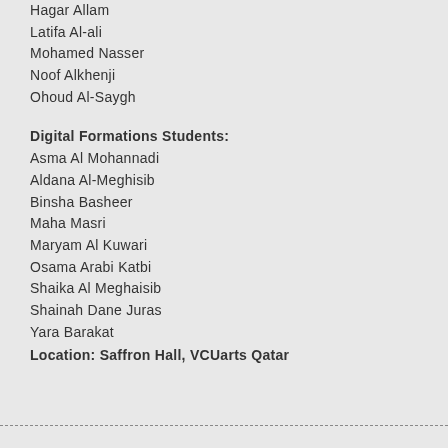Hagar Allam
Latifa Al-ali
Mohamed Nasser
Noof Alkhenji
Ohoud Al-Saygh
Digital Formations Students:
Asma Al Mohannadi
Aldana Al-Meghisib
Binsha Basheer
Maha Masri
Maryam Al Kuwari
Osama Arabi Katbi
Shaika Al Meghaisib
Shainah Dane Juras
Yara Barakat
Location: Saffron Hall, VCUarts Qatar